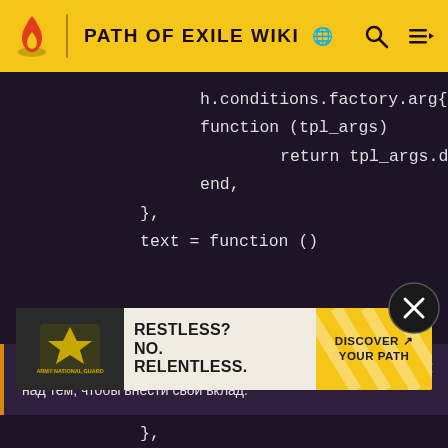PATH OF EXILE WIKI
[Figure (screenshot): Code editor screenshot showing Lua/game script code with dark purple background. Lines visible: h.conditions.factory.arg{arg='cl, function (tpl_args), return tpl_args.drop_level <, end,, },, text = function ()]
Wiki поддерживается сообществом, поэтому подумайте над тем, чтобы внести свой вклад.
[Figure (screenshot): Continuation of code: { (partial line obscured by ad), amount = 6,, },]
[Figure (photo): Army National Guard advertisement banner: RESTLESS? NO. RELENTLESS. DISCOVER YOUR PATH]